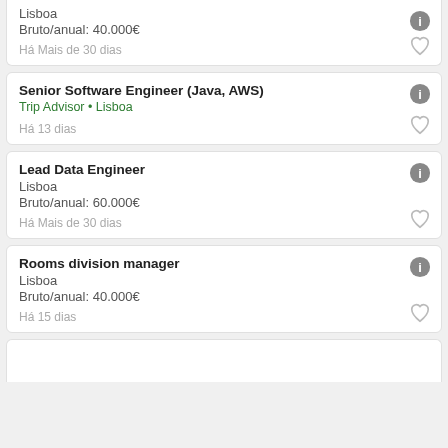Lisboa
Bruto/anual: 40.000€
Há Mais de 30 dias
Senior Software Engineer (Java, AWS)
Trip Advisor • Lisboa
Há 13 dias
Lead Data Engineer
Lisboa
Bruto/anual: 60.000€
Há Mais de 30 dias
Rooms division manager
Lisboa
Bruto/anual: 40.000€
Há 15 dias